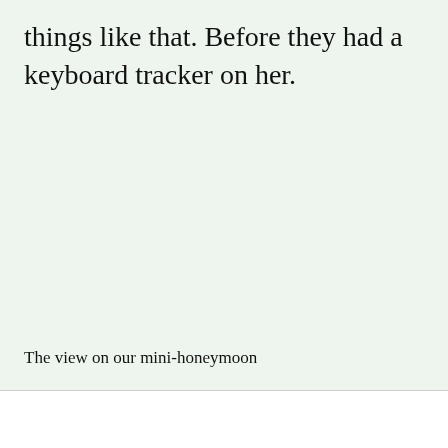things like that. Before they had a keyboard tracker on her.
The view on our mini-honeymoon
Getting back to the monthly update, this